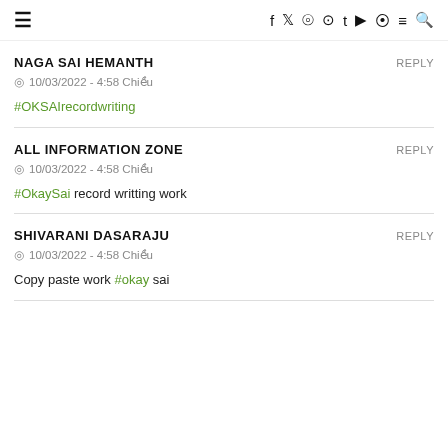≡  f  𝕏  ⊙  ⊕  t  ▶  ⬤  ≡  🔍
NAGA SAI HEMANTH — REPLY
10/03/2022 - 4:58 Chiều
#OKSAIrecordwriting
ALL INFORMATION ZONE — REPLY
10/03/2022 - 4:58 Chiều
#OkaySai record writting work
SHIVARANI DASARAJU — REPLY
10/03/2022 - 4:58 Chiều
Copy paste work #okay sai